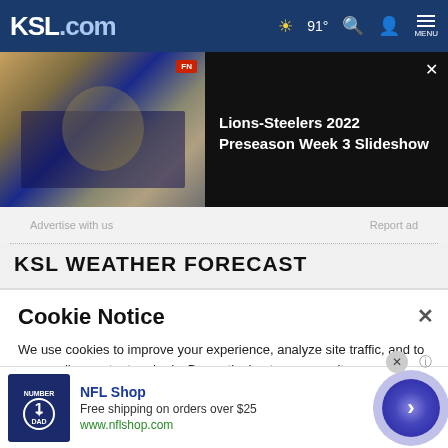KSL.com — navigation bar with logo, weather 91°, search, account, and menu icons
[Figure (screenshot): Lions-Steelers football game action photo with FN badge, dark background, news banner]
Lions-Steelers 2022 Preseason Week 3 Slideshow
Advertise with us   Report ad
KSL WEATHER FORECAST
Cookie Notice
We use cookies to improve your experience, analyze site traffic, and to personalize content and ads. By continuing to use our site, you consent to our use of cookies. Please visit our Terms of Use and  Privacy Policy for more information
[Figure (screenshot): NFL Shop advertisement banner at bottom — jersey image, NFL Shop text, Free shipping on orders over $25, www.nflshop.com, arrow button]